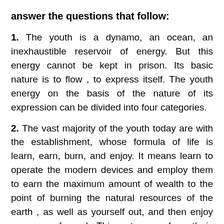answer the questions that follow:
1. The youth is a dynamo, an ocean, an inexhaustible reservoir of energy. But this energy cannot be kept in prison. Its basic nature is to flow , to express itself. The youth energy on the basis of the nature of its expression can be divided into four categories.
2. The vast majority of the youth today are with the establishment, whose formula of life is learn, earn, burn, and enjoy. It means learn to operate the modern devices and employ them to earn the maximum amount of wealth to the point of burning the natural resources of the earth , as well as yourself out, and then enjoy your own funeral. This category of youth is intelligent, skilful and hardworking but it lacks insight and foresight. They are self-indulgent and any sense of